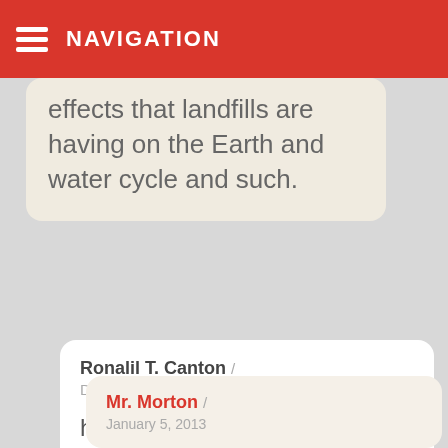NAVIGATION
effects that landfills are having on the Earth and water cycle and such.
Ronalil T. Canton / December 27, 2012
hmmp...any topics would u suggest related to Education,,,pls,,He
Mr. Morton / January 5, 2013